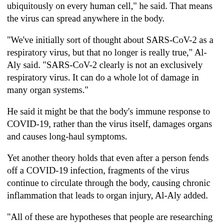ubiquitously on every human cell," he said. That means the virus can spread anywhere in the body.
"We've initially sort of thought about SARS-CoV-2 as a respiratory virus, but that no longer is really true," Al-Aly said. "SARS-CoV-2 clearly is not an exclusively respiratory virus. It can do a whole lot of damage in many organ systems."
He said it might be that the body's immune response to COVID-19, rather than the virus itself, damages organs and causes long-haul symptoms.
Yet another theory holds that even after a person fends off a COVID-19 infection, fragments of the virus continue to circulate through the body, causing chronic inflammation that leads to organ injury, Al-Aly added.
"All of these are hypotheses that people are researching to try to get to the bottom of this," he said.
One problem with the new study is that it included both hospitalized and non-hospitalized COVID-19 patients, said Dr. Amesh Adalja, a senior scholar at Johns Hopkins Center for Health Security, in Baltimore.
"One of the challenges is to separate long COVID from post-ICU